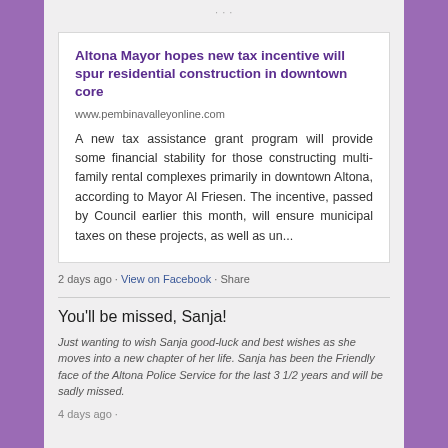Altona Mayor hopes new tax incentive will spur residential construction in downtown core
www.pembinavalleyonline.com
A new tax assistance grant program will provide some financial stability for those constructing multi-family rental complexes primarily in downtown Altona, according to Mayor Al Friesen. The incentive, passed by Council earlier this month, will ensure municipal taxes on these projects, as well as un...
2 days ago · View on Facebook · Share
You'll be missed, Sanja!
Just wanting to wish Sanja good-luck and best wishes as she moves into a new chapter of her life. Sanja has been the Friendly face of the Altona Police Service for the last 3 1/2 years and will be sadly missed.
4 days ago ·